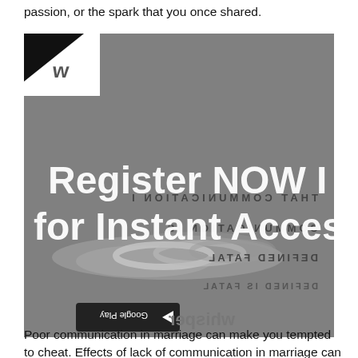passion, or the spark that you once shared.
[Figure (screenshot): A grayscale image of wedding rings overlaid with a 'Whisper' app advertisement. Large white text reads 'Register NOW for Instant Access'. Behind it, mirrored/flipped text in dark reads 'THAT COMMUNICATION IS DEFINED FATAL'. The bottom shows the Whisper app logo and app store badges (Google Play and App Store), all shown upside-down/mirrored.]
Poor communication in marriage can make you tempted to cheat. Effects of lack of communication in marriage can be